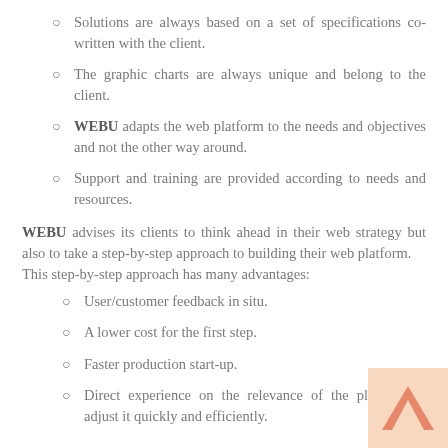Solutions are always based on a set of specifications co-written with the client.
The graphic charts are always unique and belong to the client.
WEBU adapts the web platform to the needs and objectives and not the other way around.
Support and training are provided according to needs and resources.
WEBU advises its clients to think ahead in their web strategy but also to take a step-by-step approach to building their web platform.
This step-by-step approach has many advantages:
User/customer feedback in situ.
A lower cost for the first step.
Faster production start-up.
Direct experience on the relevance of the platform to adjust it quickly and efficiently.